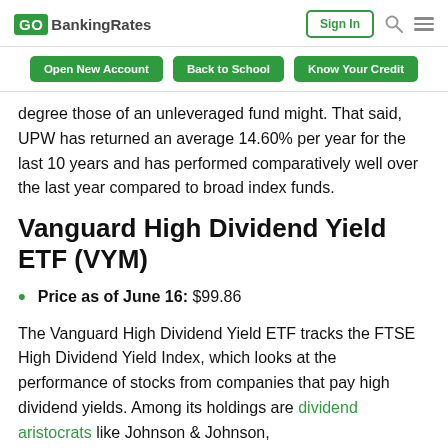GOBankingRates | Sign In
Open New Account | Back to School | Know Your Credit
degree those of an unleveraged fund might. That said, UPW has returned an average 14.60% per year for the last 10 years and has performed comparatively well over the last year compared to broad index funds.
Vanguard High Dividend Yield ETF (VYM)
Price as of June 16: $99.86
The Vanguard High Dividend Yield ETF tracks the FTSE High Dividend Yield Index, which looks at the performance of stocks from companies that pay high dividend yields. Among its holdings are dividend aristocrats like Johnson & Johnson,